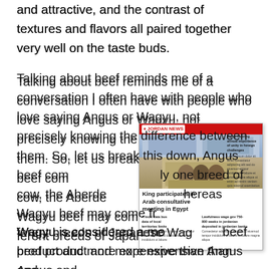and attractive, and the contrast of textures and flavors all paired together very well on the taste buds.
Talking about beef reminds me of a conversation I often have with people who love saying Angus or Wagyu, not precisely knowing the difference between them. So, let us break this down, Angus beef comes from only one breed of cow, the Aberdeen Angus, whereas Wagyu beef may come from four different breeds of Japanese Wagyu cattle.
[Figure (photo): Thumbnail image of a Jordan News newspaper front page showing a headline 'King participates in Arab consultative meeting in Egypt' with a photo of officials meeting, and other smaller news stories and images below.]
Wagyu is considered a more premium beef product and more expensive than Angus and